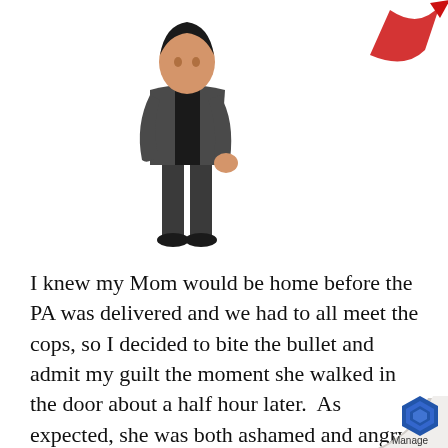[Figure (illustration): Cartoon illustration of a person in a dark suit/jacket standing, with a red arrow or swoosh shape in the upper right corner.]
I knew my Mom would be home before the PA was delivered and we had to all meet the cops, so I decided to bite the bullet and admit my guilt the moment she walked in the door about a half hour later.  As expected, she was both ashamed and angry and insisted on taking me to the cop shop to meet my fellow thieves and the sergeant.  I was actually glad I did it that way—I had never really felt right about the whole thing, and I was willing to accept whatever punishment meted out becau
[Figure (logo): Page-curl effect in bottom-right corner with a blue hexagonal logo and the word 'Manage' below it.]